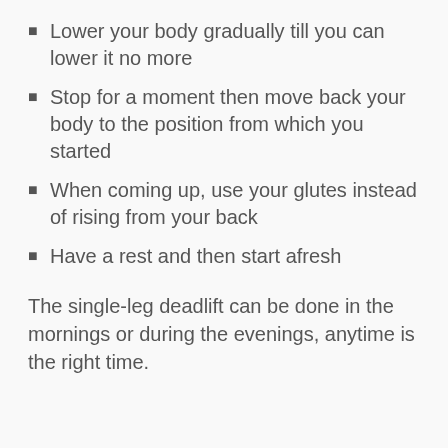Lower your body gradually till you can lower it no more
Stop for a moment then move back your body to the position from which you started
When coming up, use your glutes instead of rising from your back
Have a rest and then start afresh
The single-leg deadlift can be done in the mornings or during the evenings, anytime is the right time.